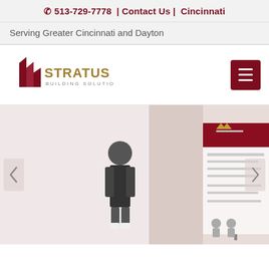📞 513-729-7778  |  Contact Us  |  Cincinnati
Serving Greater Cincinnati and Dayton
[Figure (logo): Stratus Building Solutions logo with stylized building icon and gold/maroon text]
[Figure (photo): Person standing in front of a Stratus Building Solutions pull-up banner display in an office or event space]